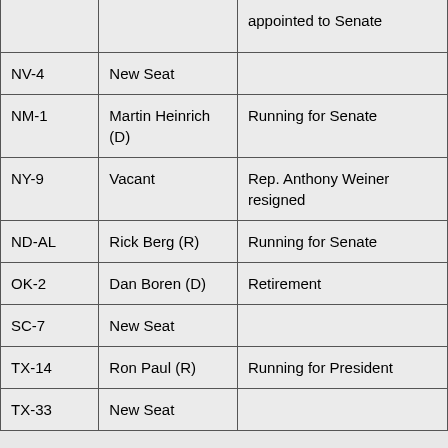| District | Representative | Reason |
| --- | --- | --- |
|  |  | appointed to Senate |
| NV-4 | New Seat |  |
| NM-1 | Martin Heinrich (D) | Running for Senate |
| NY-9 | Vacant | Rep. Anthony Weiner resigned |
| ND-AL | Rick Berg (R) | Running for Senate |
| OK-2 | Dan Boren (D) | Retirement |
| SC-7 | New Seat |  |
| TX-14 | Ron Paul (R) | Running for President |
| TX-33 | New Seat |  |